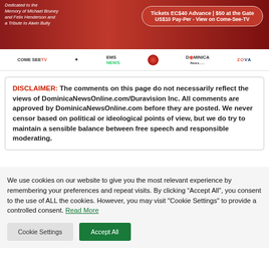[Figure (illustration): Red banner advertisement. Left side: italic white text 'Dedicated to the Memory of Michael Bruney and Felix Henderson and a Tribute to Alwin Bully'. Right side: rounded pill/oval button with text 'Tickets EC$40 Advance | $50 at the Gate US$10 Pay-Per - View on Come-See-TV']
[Figure (illustration): Sponsor logo bar with logos: COME SEE TV, decorative star logo, EMS NEWS, red circle logo, DOMINICA News ONLINE, ZOVA]
DISCLAIMER: The comments on this page do not necessarily reflect the views of DominicaNewsOnline.com/Duravision Inc. All comments are approved by DominicaNewsOnline.com before they are posted. We never censor based on political or ideological points of view, but we do try to maintain a sensible balance between free speech and responsible moderating.
We use cookies on our website to give you the most relevant experience by remembering your preferences and repeat visits. By clicking “Accept All”, you consent to the use of ALL the cookies. However, you may visit "Cookie Settings" to provide a controlled consent. Read More
Cookie Settings
Accept All